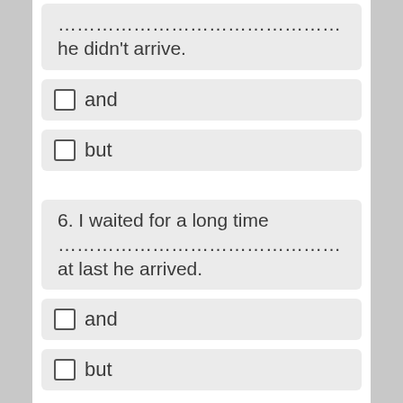……………………………………… he didn't arrive.
and
but
6. I waited for a long time ……………………………………… at last he arrived.
and
but